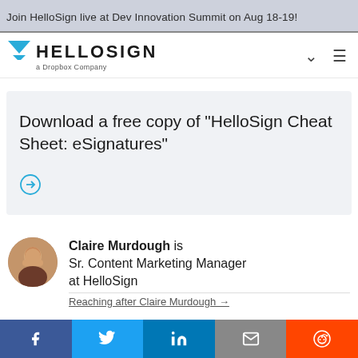Join HelloSign live at Dev Innovation Summit on Aug 18-19!
[Figure (logo): HelloSign logo with inverted triangle icon and 'a Dropbox Company' subtitle, with chevron and hamburger menu icons]
Download a free copy of "HelloSign Cheat Sheet: eSignatures"
[Figure (other): Circular arrow icon (download/navigate button)]
Claire Murdough is Sr. Content Marketing Manager at HelloSign
[Figure (photo): Circular profile photo of Claire Murdough]
f  Twitter  in  Email  Reddit share buttons